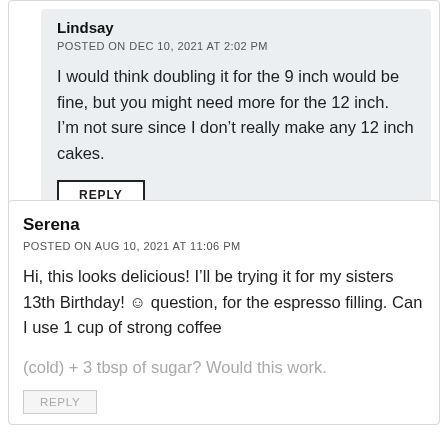Lindsay
POSTED ON DEC 10, 2021 AT 2:02 PM
I would think doubling it for the 9 inch would be fine, but you might need more for the 12 inch. I’m not sure since I don’t really make any 12 inch cakes.
REPLY
Serena
POSTED ON AUG 10, 2021 AT 11:06 PM
Hi, this looks delicious! I’ll be trying it for my sisters 13th Birthday! ☺ question, for the espresso filling. Can I use 1 cup of strong coffee
(cold) + 3 tbsp of sugar? Would this work.
REPLY